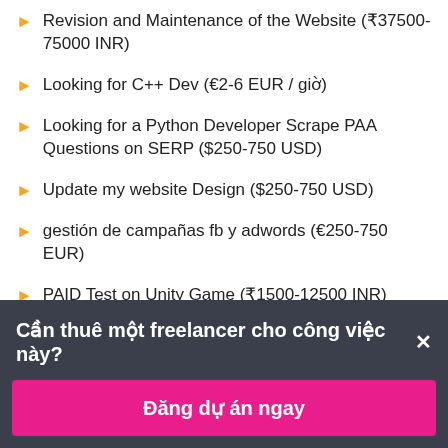Revision and Maintenance of the Website (₹37500-75000 INR)
Looking for C++ Dev (€2-6 EUR / giờ)
Looking for a Python Developer Scrape PAA Questions on SERP ($250-750 USD)
Update my website Design ($250-750 USD)
gestión de campañas fb y adwords (€250-750 EUR)
PAID Test on Unity Game (₹1500-12500 INR)
APPSHEET DEVELOPMENT (₹1500-12500 INR)
Fix Angular JS code (₹1500-12500 INR)
Cần thuê một freelancer cho công việc này? ×
Đăng dự án ngay